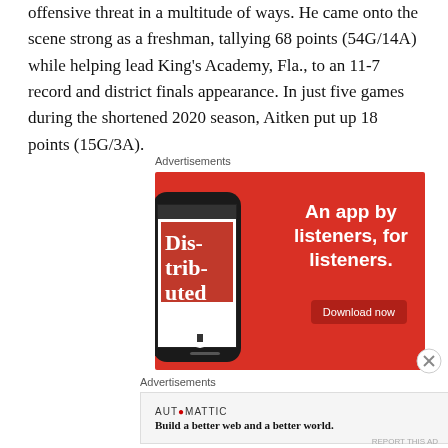offensive threat in a multitude of ways. He came onto the scene strong as a freshman, tallying 68 points (54G/14A) while helping lead King's Academy, Fla., to an 11-7 record and district finals appearance. In just five games during the shortened 2020 season, Aitken put up 18 points (15G/3A).
Advertisements
[Figure (photo): Advertisement banner: Red background with a smartphone showing a podcast app. Text reads 'An app by listeners, for listeners.' with a 'Download now' button.]
Advertisements
[Figure (photo): Automattic advertisement banner: 'Build a better web and a better world.']